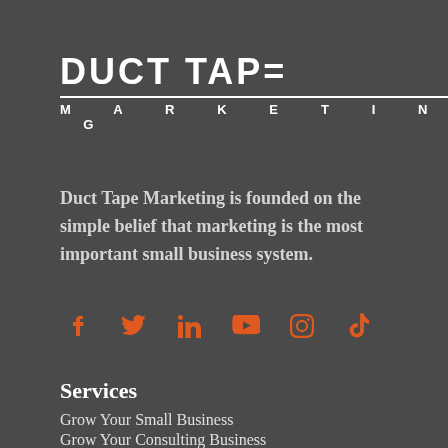[Figure (logo): Duct Tape Marketing logo with bold white text 'DUCT TAPE' on top and 'MARKETING' in spaced caps below with a white rule separating them]
Duct Tape Marketing is founded on the simple belief that marketing is the most important small business system.
[Figure (infographic): Six social media icons in orange: Facebook, Twitter, LinkedIn, YouTube, Instagram, TikTok]
Services
Grow Your Small Business
Grow Your Consulting Business